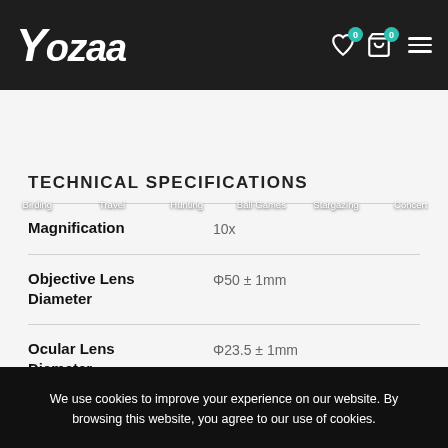Yozaa — website header with logo and navigation icons
[Figure (screenshot): Navigation bar with categories: Birding, Travel, Hunting, Ball Games, Stargazing, Concert — shown as image tiles with text overlay]
TECHNICAL SPECIFICATIONS
| Specification | Value |
| --- | --- |
| Magnification | 10x |
| Objective Lens Diameter | Φ50 ± 1mm |
| Ocular Lens Diameter | Φ23.5 ± 1mm |
We use cookies to improve your experience on our website. By browsing this website, you agree to our use of cookies.